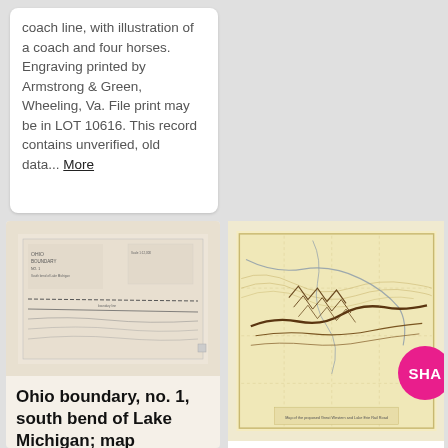coach line, with illustration of a coach and four horses. Engraving printed by Armstrong & Green, Wheeling, Va. File print may be in LOT 10616. This record contains unverified, old data... More
[Figure (map): Ohio boundary map, no. 1, south bend of Lake Michigan — historical survey map showing boundary lines, minimal detail, light sepia tones]
Ohio boundary, no. 1, south bend of Lake Michigan; map exhibiting the ...
Scale 1:12,000; 1,000 ft. to in. Includes "References."
[Figure (map): Map of the proposed Great Western and Lake Erie Rail Road in Pennsylvania — historical map with topographic features, rivers, and railway routes marked in brown on yellow paper]
Map of the proposed Great Western and Lake Erie Rail Roa Pennsylva...